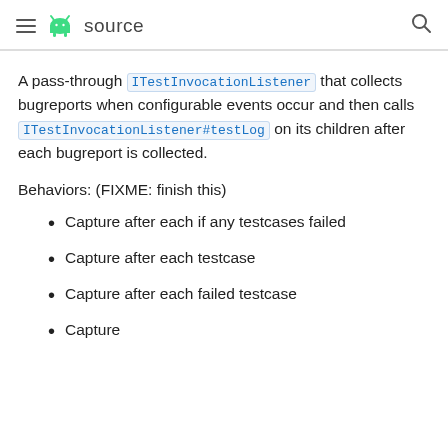≡ 🤖 source 🔍
A pass-through ITestInvocationListener that collects bugreports when configurable events occur and then calls ITestInvocationListener#testLog on its children after each bugreport is collected.
Behaviors: (FIXME: finish this)
Capture after each if any testcases failed
Capture after each testcase
Capture after each failed testcase
Capture